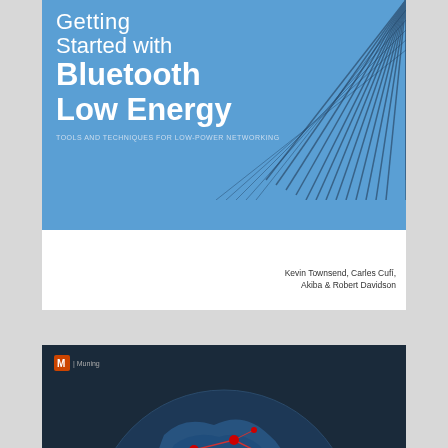[Figure (illustration): Book cover: 'Getting Started with Bluetooth Low Energy' by Kevin Townsend, Carles Cufí, Akiba & Robert Davidson. Blue cover with wire/cable graphic, O'Reilly-style.]
[Figure (illustration): Book cover: 'Security Yearbook 2020 - A History and Directory of the IT Security Industry' by Richard Stiennon. Dark navy cover with globe and network connection lines graphic, Manning Publications.]
[Figure (illustration): Book cover (partial): 'Secrets for Minecraft'. Yellow/gold cover with white bold text.]